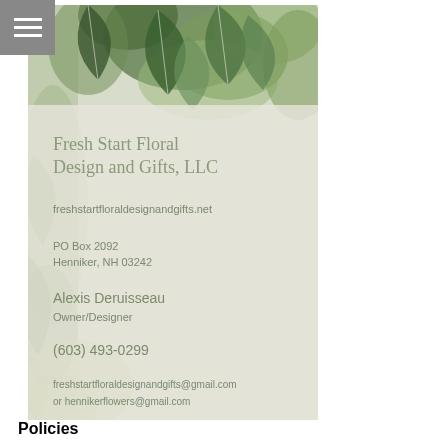[Figure (illustration): Business card for Fresh Start Floral Design and Gifts LLC with watercolor green leaf background. Contains business name, website, address, owner name, phone, and email.]
Fresh Start Floral Design and Gifts, LLC
freshstartfloraldesignandgifts.net
PO Box 2092
Henniker, NH 03242
Alexis Deruisseau
Owner/Designer
(603) 493-0299
freshstartfloraldesignandgifts@gmail.com
or    hennikerflowers@gmail.com
Policies